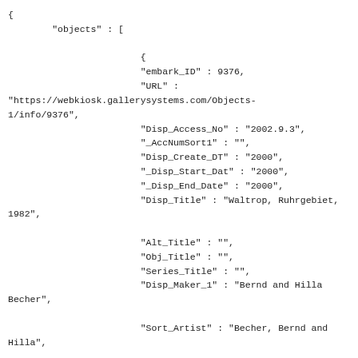{
        "objects" : [

                        {
                        "embark_ID" : 9376,
                        "URL" :
"https://webkiosk.gallerysystems.com/Objects-1/info/9376",
                        "Disp_Access_No" : "2002.9.3",
                        "_AccNumSort1" : "",
                        "Disp_Create_DT" : "2000",
                        "_Disp_Start_Dat" : "2000",
                        "_Disp_End_Date" : "2000",
                        "Disp_Title" : "Waltrop, Ruhrgebiet, 1982",

                        "Alt_Title" : "",
                        "Obj_Title" : "",
                        "Series_Title" : "",
                        "Disp_Maker_1" : "Bernd and Hilla Becher",

                        "Sort_Artist" : "Becher, Bernd and Hilla",

                        "Disp_Dimen" : "36 x 29 5/8 in. (91.44 x 75.26 cm)",

                        "Disp_Height" : "36 in.",
                        "Disp_Width" : "29 5/8 in.",
                        "Dimen_Extent" : "framed",
                        "Medium" : "Gelatin silver print",
                        "Support" : "",